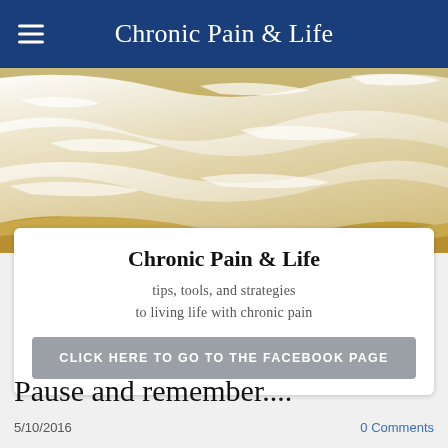Chronic Pain & Life
[Figure (photo): Ocean waves washing over a sandy beach, viewed from above. Foamy white surf contrasts with sandy golden-brown water.]
Chronic Pain & Life
tips, tools, and strategies to living life with chronic pain
CLICK HERE TO GO TO THE FACEBOOK PAGE
Pause and remember....
5/10/2016
0 Comments